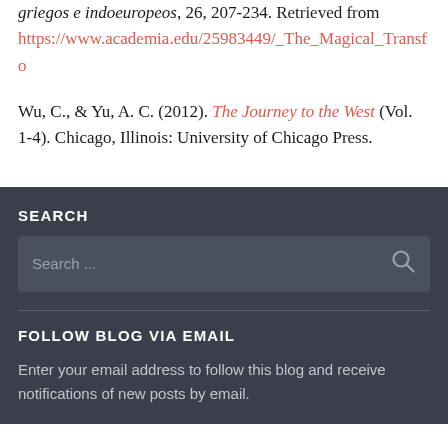griegos e indoeuropeos, 26, 207-234. Retrieved from https://www.academia.edu/25983449/_The_Magical_Transfo
Wu, C., & Yu, A. C. (2012). The Journey to the West (Vol. 1-4). Chicago, Illinois: University of Chicago Press.
SEARCH
Search ...
FOLLOW BLOG VIA EMAIL
Enter your email address to follow this blog and receive notifications of new posts by email.